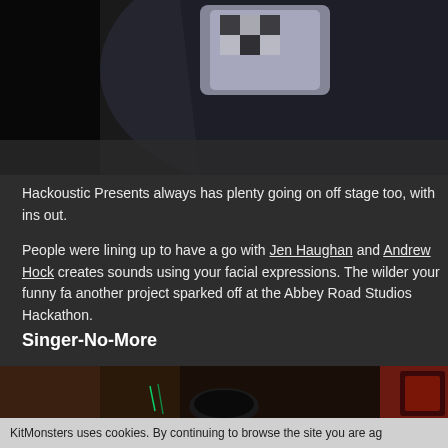[Figure (photo): Partial photo of a person, darkly lit, with a patterned black and white jacket or clothing visible against a dark background]
Hackoustic Presents always has plenty going on off stage too, with ins out.
People were lining up to have a go with Jen Haughan and Andrew Hock creates sounds using your facial expressions. The wilder your funny fa another project sparked off at the Abbey Road Studios Hackathon.
Singer-No-More
[Figure (photo): Dark photo showing a person in a plaid shirt handling electronic equipment or musical instruments on a table, with glowing lights visible in the background]
KitMonsters uses cookies. By continuing to browse the site you are ag